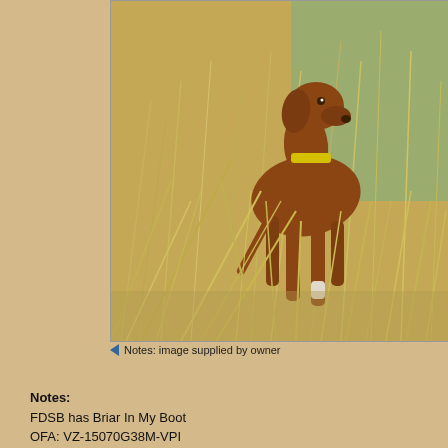[Figure (photo): A Vizsla dog with a yellow collar standing alert in a field of tall dry golden grass, looking to the right.]
Notes: image supplied by owner
Notes:
FDSB has Briar In My Boot
OFA: VZ-15070G38M-VPI